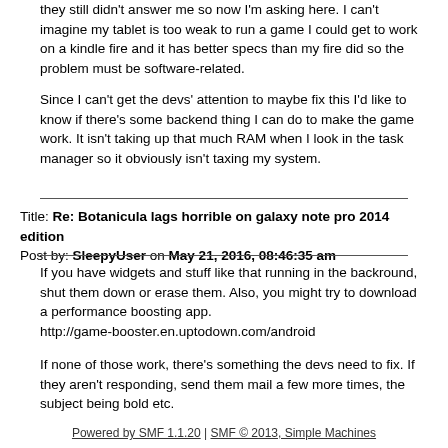they still didn't answer me so now I'm asking here. I can't imagine my tablet is too weak to run a game I could get to work on a kindle fire and it has better specs than my fire did so the problem must be software-related.
Since I can't get the devs' attention to maybe fix this I'd like to know if there's some backend thing I can do to make the game work. It isn't taking up that much RAM when I look in the task manager so it obviously isn't taxing my system.
Title: Re: Botanicula lags horrible on galaxy note pro 2014 edition
Post by: SleepyUser on May 21, 2016, 08:46:35 am
If you have widgets and stuff like that running in the backround,
shut them down or erase them. Also, you might try to download
a performance boosting app.
http://game-booster.en.uptodown.com/android
If none of those work, there's something the devs need to fix. If they aren't responding, send them mail a few more times, the subject being bold etc.
Powered by SMF 1.1.20 | SMF © 2013, Simple Machines